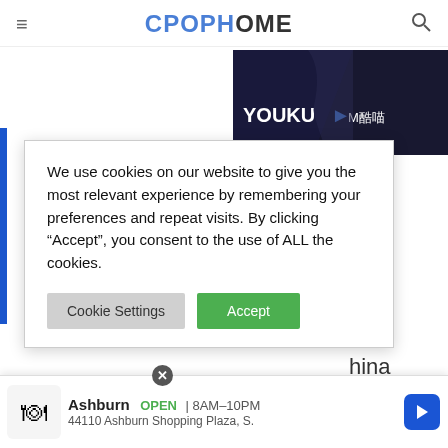CPOPHOME
[Figure (screenshot): Screenshot of CPOPHOME website with cookie consent overlay. Top right shows a Youku streaming platform advertisement image with logos. Cookie consent modal reads: 'We use cookies on our website to give you the most relevant experience by remembering your preferences and repeat visits. By clicking "Accept", you consent to the use of ALL the cookies.' with 'Cookie Settings' and 'Accept' buttons. Below are partially visible profile fields: Zodiac Sign: Scorpio, Height: 180cm, Weight: 62kg, Fandom Name, Fandom, Weibo: SKY. Bottom shows an ad banner for Ashburn OPEN 8AM-10PM 44110 Ashburn Shopping Plaza, S.]
We use cookies on our website to give you the most relevant experience by remembering your preferences and repeat visits. By clicking “Accept”, you consent to the use of ALL the cookies.
Zodiac Sign: Scorpio
Height: 180cm
Weight: 62kg
Fandom Name:
Fandom:
Weibo: SKY
Ashburn OPEN | 8AM-10PM 44110 Ashburn Shopping Plaza, S.